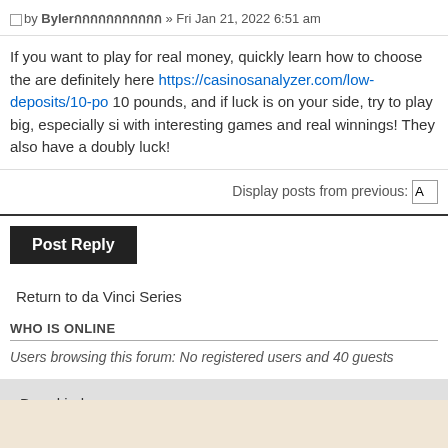by Byler» Fri Jan 21, 2022 6:51 am
If you want to play for real money, quickly learn how to choose the are definitely here https://casinosanalyzer.com/low-deposits/10-po 10 pounds, and if luck is on your side, try to play big, especially si with interesting games and real winnings! They also have a doubly luck!
Display posts from previous:
Post Reply
Return to da Vinci Series
WHO IS ONLINE
Users browsing this forum: No registered users and 40 guests
Board index